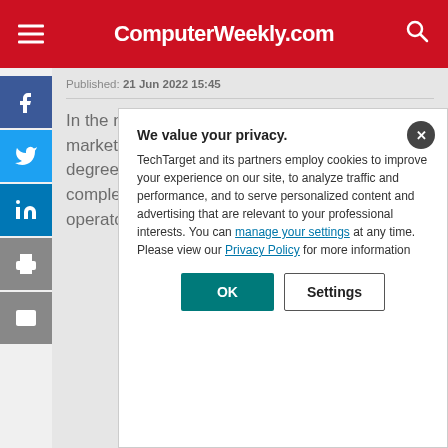ComputerWeekly.com
Published: 21 Jun 2022 15:45
In the not-too-distant past, the Belgian 5G market was developing slowly and with no small degree of complexity. But as the country completes its first 5G spectrum auction, leading operators are readying their share of the spectrum, which they have to deploy, but also that of their customers.
We value your privacy.
TechTarget and its partners employ cookies to improve your experience on our site, to analyze traffic and performance, and to serve personalized content and advertising that are relevant to your professional interests. You can manage your settings at any time. Please view our Privacy Policy for more information